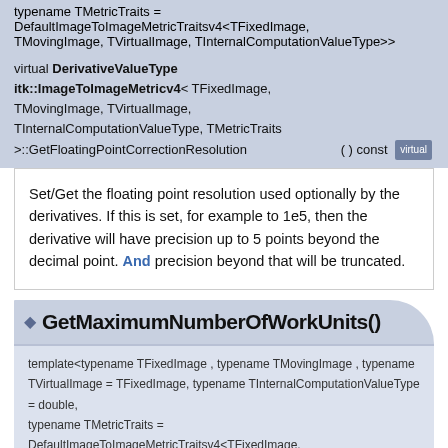typename TMetricTraits = DefaultImageToImageMetricTraitsv4<TFixedImage, TMovingImage, TVirtualImage, TInternalComputationValueType>>
virtual DerivativeValueType itk::ImageToImageMetricv4< TFixedImage, TMovingImage, TVirtualImage, TInternalComputationValueType, TMetricTraits >::GetFloatingPointCorrectionResolution ( ) const [virtual]
Set/Get the floating point resolution used optionally by the derivatives. If this is set, for example to 1e5, then the derivative will have precision up to 5 points beyond the decimal point. And precision beyond that will be truncated.
GetMaximumNumberOfWorkUnits()
template<typename TFixedImage , typename TMovingImage , typename TVirtualImage = TFixedImage, typename TInternalComputationValueType = double, typename TMetricTraits = DefaultImageToImageMetricTraitsv4<TFixedImage, TMovingImage, TVirtualImage, TInternalComputationValueType>>